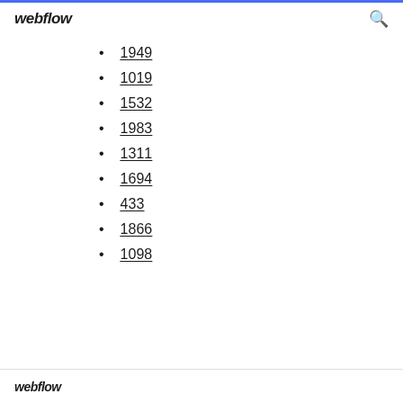webflow
1949
1019
1532
1983
1311
1694
433
1866
1098
webflow